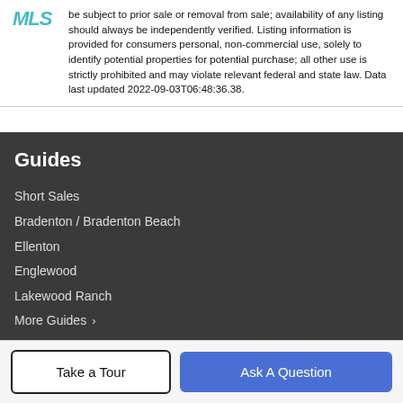MLS be subject to prior sale or removal from sale; availability of any listing should always be independently verified. Listing information is provided for consumers personal, non-commercial use, solely to identify potential properties for potential purchase; all other use is strictly prohibited and may violate relevant federal and state law. Data last updated 2022-09-03T06:48:36.38.
Guides
Short Sales
Bradenton / Bradenton Beach
Ellenton
Englewood
Lakewood Ranch
More Guides >
Take a Tour
Ask A Question